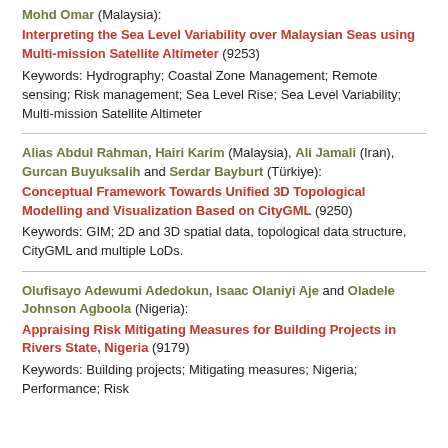Mohd Omar (Malaysia):
Interpreting the Sea Level Variability over Malaysian Seas using Multi-mission Satellite Altimeter (9253)
Keywords: Hydrography; Coastal Zone Management; Remote sensing; Risk management; Sea Level Rise; Sea Level Variability; Multi-mission Satellite Altimeter
Alias Abdul Rahman, Hairi Karim (Malaysia), Ali Jamali (Iran), Gurcan Buyuksalih and Serdar Bayburt (Türkiye):
Conceptual Framework Towards Unified 3D Topological Modelling and Visualization Based on CityGML (9250)
Keywords: GIM; 2D and 3D spatial data, topological data structure, CityGML and multiple LoDs.
Olufisayo Adewumi Adedokun, Isaac Olaniyi Aje and Oladele Johnson Agboola (Nigeria):
Appraising Risk Mitigating Measures for Building Projects in Rivers State, Nigeria (9179)
Keywords: Building projects; Mitigating measures; Nigeria; Performance; Risk